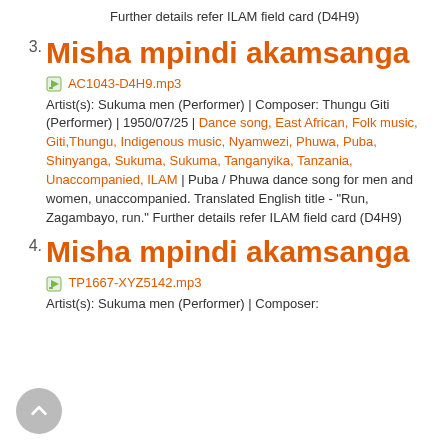Further details refer ILAM field card (D4H9)
3. Misha mpindi akamsanga
AC1043-D4H9.mp3
Artist(s): Sukuma men (Performer) | Composer: Thungu Giti (Performer) | 1950/07/25 | Dance song, East African, Folk music, Giti,Thungu, Indigenous music, Nyamwezi, Phuwa, Puba, Shinyanga, Sukuma, Sukuma, Tanganyika, Tanzania, Unaccompanied, ILAM | Puba / Phuwa dance song for men and women, unaccompanied. Translated English title - "Run, Zagambayo, run." Further details refer ILAM field card (D4H9)
4. Misha mpindi akamsanga
TP1667-XYZ5142.mp3
Artist(s): Sukuma men (Performer) | Composer: